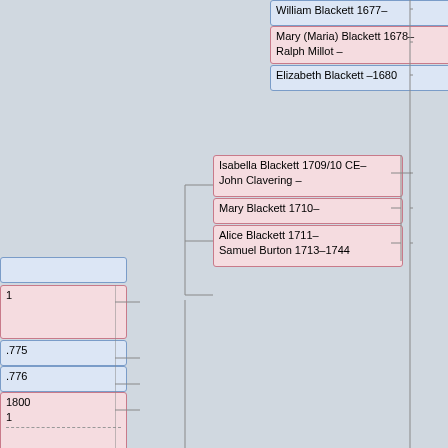[Figure (organizational-chart): Genealogical family tree chart showing the Blackett family relationships across multiple generations. Boxes in blue represent male individuals or family units, boxes in pink represent female/spouse entries. Connected by horizontal and vertical lines indicating parent-child and spousal relationships. Visible entries include: William Blackett 1677–, Mary (Maria) Blackett 1678– / Ralph Millot –, Elizabeth Blackett –1680, Isabella Blackett 1709/10 CE– / John Clavering –, Mary Blackett 1710–, Alice Blackett 1711– / Samuel Burton 1713–1744, John Blackett 1680–1714 / Elizabeth Bacon 1679–1723, John Blackett 1712–1769 / Dorothy Grey 1705–1740 / Elizabeth Crosby 1722–1805, and various partially visible entries on the left side.]